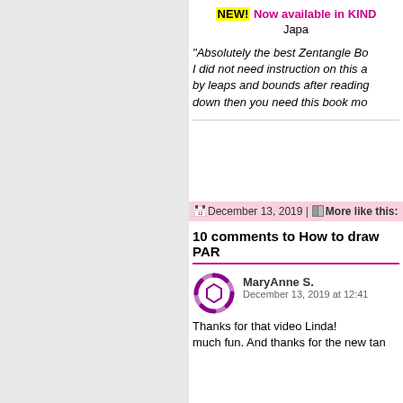NEW! Now available in KIND... Japa...
"Absolutely the best Zentangle Bo... I did not need instruction on this a... by leaps and bounds after reading... down then you need this book mo...
December 13, 2019 | More like this:
10 comments to How to draw PAR...
MaryAnne S.
December 13, 2019 at 12:41
Thanks for that video Linda!... much fun. And thanks for the new tan...